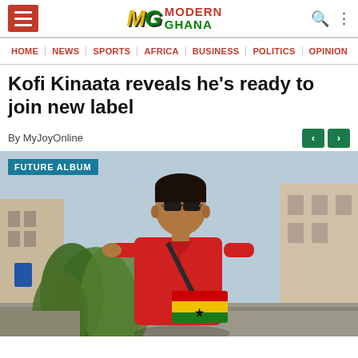Modern Ghana
HOME | NEWS | SPORTS | AFRICA | BUSINESS | POLITICS | OPINION
Kofi Kinaata reveals he's ready to join new label
By MyJoyOnline
[Figure (photo): Man wearing red polo shirt, sunglasses, and a Ghana-flag colored fanny pack, standing outdoors in an urban street setting with tropical plants behind him. A blue badge overlay reads 'FUTURE ALBUM'.]